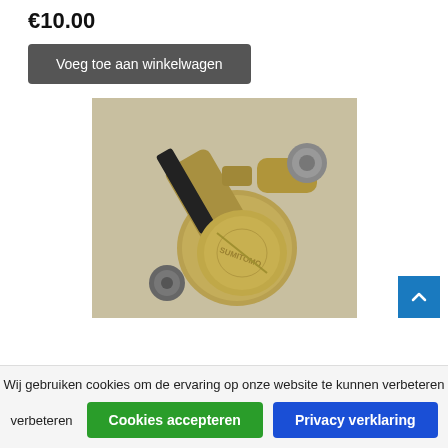€10.00
Voeg toe aan winkelwagen
[Figure (photo): Photo of a gold/brass colored Sumitomo brake caliper with black brake pads, photographed on a light surface.]
Wij gebruiken cookies om de ervaring op onze website te kunnen verbeteren
Cookies accepteren
Privacy verklaring